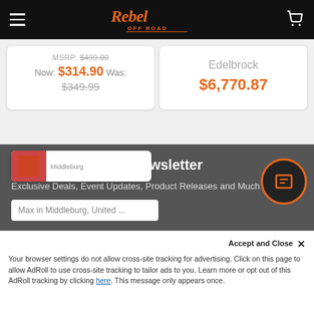[Figure (logo): Rebel Off Road logo in orange script on black header bar with hamburger menu and cart icon]
MSRP: $499.00
Now: $314.90  Was: $349.99
Edelbrock
$6,770.87
Subscribe To Our Newsletter
Exclusive Deals, Event Updates, Product Releases and Much More
Max in Middleburg, United ...
Accept and Close ×
Your browser settings do not allow cross-site tracking for advertising. Click on this page to allow AdRoll to use cross-site tracking to tailor ads to you. Learn more or opt out of this AdRoll tracking by clicking here. This message only appears once.